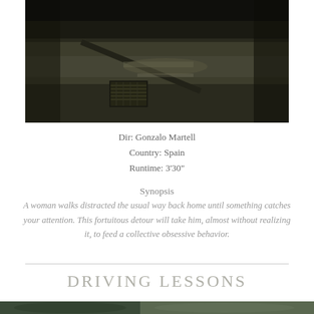[Figure (photo): Dark moody black and white photograph of a wet street with a storm drain/grate visible, taken at a low angle showing pavement and shadows]
Dir: Gonzalo Martell
Country: Spain
Runtime: 3'30"
Synopsis
A woman walks distracted the usual way back home until something catches your attention. This fortuitous detour will take him, almost without realizing it, to feed a collective obsessive behavior.
DRIVING LESSONS
[Figure (photo): Partial view of a photo showing what appears to be a person or scene, cropped at the bottom of the page]